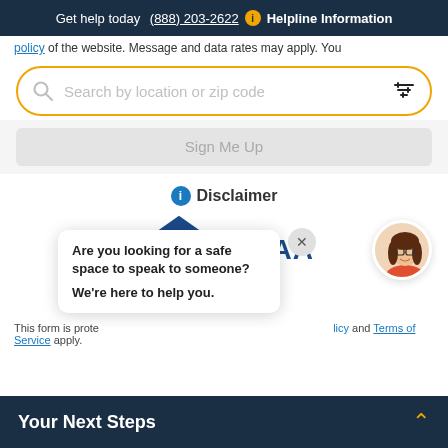Get help today (888) 203-2622 i Helpline Information
policy of the website. Message and data rates may apply. You
Search by location or zip code
Sign Me Up
i Disclaimer
[Figure (logo): VERIFIED HIPAA badge with house icon]
Are you looking for a safe space to speak to someone? We're here to help you.
This form is prote... licy and Terms of Service apply.
Your Next Steps